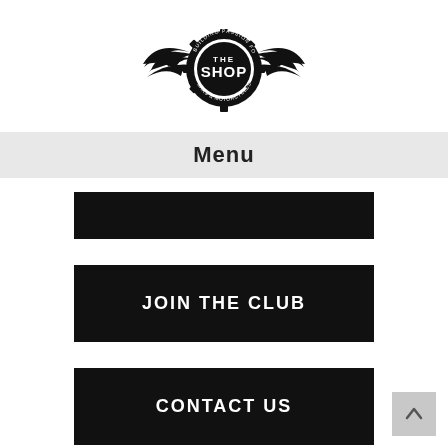[Figure (logo): The Shop logo — gear/cog badge with wings, text 'THE SHOP' and 'BUILDING PASSION FOR CARS & MOTORCYCLES']
Menu
JOIN THE CLUB
CONTACT US